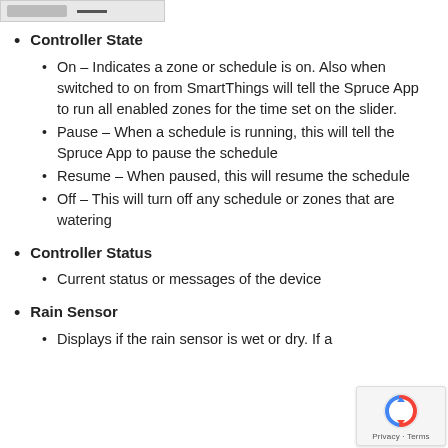[Figure (screenshot): Header navigation bar screenshot at the top of the page]
Controller State
On – Indicates a zone or schedule is on. Also when switched to on from SmartThings will tell the Spruce App to run all enabled zones for the time set on the slider.
Pause – When a schedule is running, this will tell the Spruce App to pause the schedule
Resume – When paused, this will resume the schedule
Off – This will turn off any schedule or zones that are watering
Controller Status
Current status or messages of the device
Rain Sensor
Displays if the rain sensor is wet or dry. If a